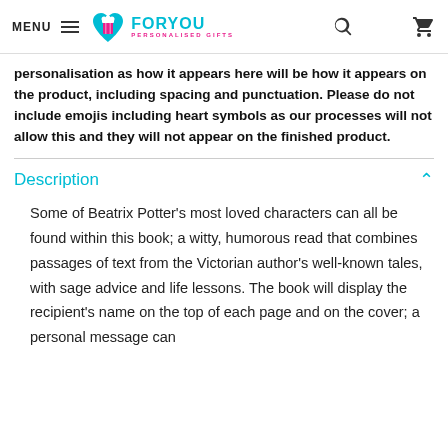MENU | FORYOU PERSONALISED GIFTS
personalisation as how it appears here will be how it appears on the product, including spacing and punctuation. Please do not include emojis including heart symbols as our processes will not allow this and they will not appear on the finished product.
Description
Some of Beatrix Potter's most loved characters can all be found within this book; a witty, humorous read that combines passages of text from the Victorian author's well-known tales, with sage advice and life lessons. The book will display the recipient's name on the top of each page and on the cover; a personal message can